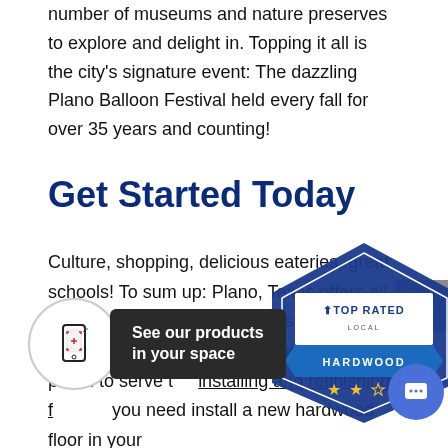is one of the best in the DFW area. There are a large number of museums and nature preserves to explore and delight in. Topping it all is the city's signature event: The dazzling Plano Balloon Festival held every fall for over 35 years and counting!
Get Started Today
Culture, shopping, delicious eateries, great schools! To sum up: Plano, Texas offers all the amenities of a large, diverse and well-off metropolis. Texas Hardwood Flooring is proud to serve the installing and refinishing f... you need install a new hardwood floor in your
[Figure (other): AR product visualization button with phone icon and label 'See our products in your space']
[Figure (logo): Top Rated Local - Hardwood badge/seal with star ratings]